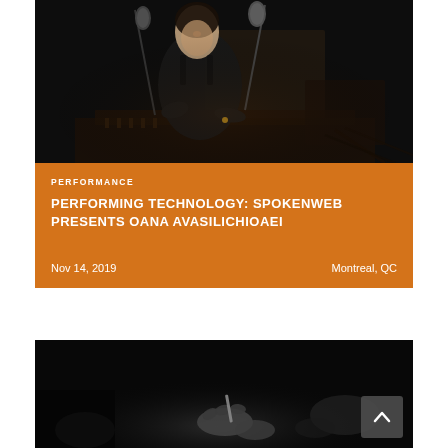[Figure (photo): Black and white/dark photo of a woman in a black sleeveless dress leaning over audio/electronic equipment with microphones in front of her, performing on stage.]
PERFORMANCE
PERFORMING TECHNOLOGY: SPOKENWEB PRESENTS OANA AVASILICHIOAEI
Nov 14, 2019
Montreal, QC
[Figure (photo): Black and white photo (partial, cropped) showing hands possibly writing or handling objects, with a back-to-top arrow button overlaid in the bottom right corner.]